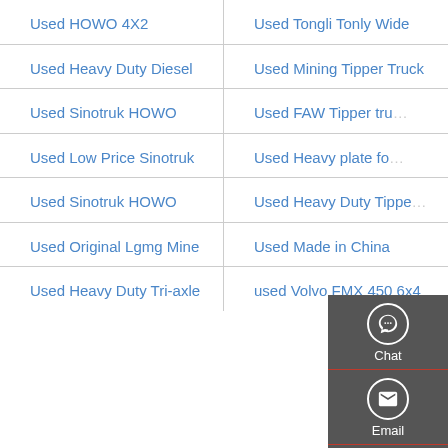Used HOWO 4X2
Used Tongli Tonly Wide
Used Heavy Duty Diesel
Used Mining Tipper Truck
Used Sinotruk HOWO
Used FAW Tipper tru...
Used Low Price Sinotruk
Used Heavy plate fo...
Used Sinotruk HOWO
Used Heavy Duty Tippe...
Used Original Lgmg Mine
Used Made in China
Used Heavy Duty Tri-axle
used Volvo FMX 450 6x4